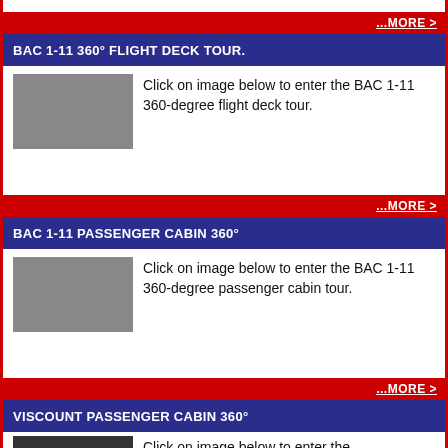...MORE >
BAC 1-11 360° FLIGHT DECK TOUR.
Click on image below to enter the BAC 1-11 360-degree flight deck tour.
...MORE >
BAC 1-11 PASSENGER CABIN 360°
Click on image below to enter the BAC 1-11 360-degree passenger cabin tour.
...MORE >
VISCOUNT PASSENGER CABIN 360°
Click on image below to enter the